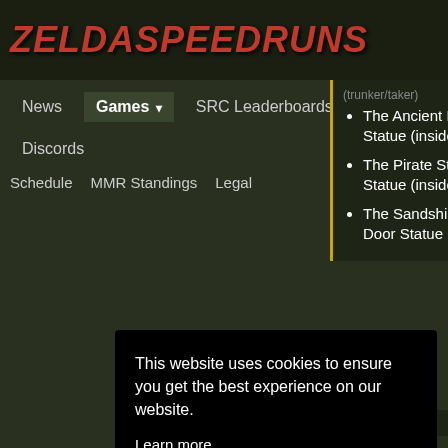ZeldaSpeedRuns
News  Games ▾  SRC Leaderboards  Discords  Schedule  MMR Standings  Legal
The Ancient Harbour Statue (inside statue)
The Pirate Stronghold Statue (inside statue)
The Sandship Boss Door Statue
This website uses cookies to ensure you get the best experience on our website.
Learn more
Got it!
Water section